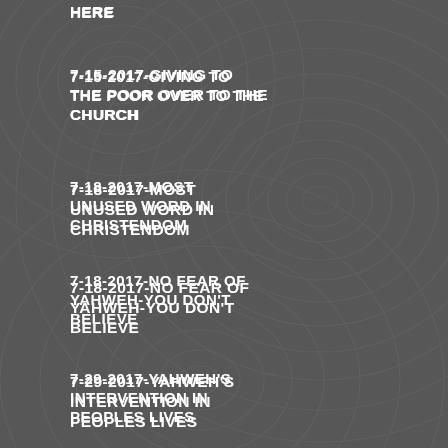HERE
7-15-2017-GIVING TO THE POOR OVER TO THE CHURCH
7-18-2017-MOST UNUSED WORD IN CHRISTENDOM
7-18-2017-NO FEAR OF YAHWEH-YOU DON'T BELIEVE
7-29-2017-YAHWEH'S INTERVENTION IN PEOPLES LIVES
7-31-2017-COMFORT WORDS LIKE COMFORT FOODS